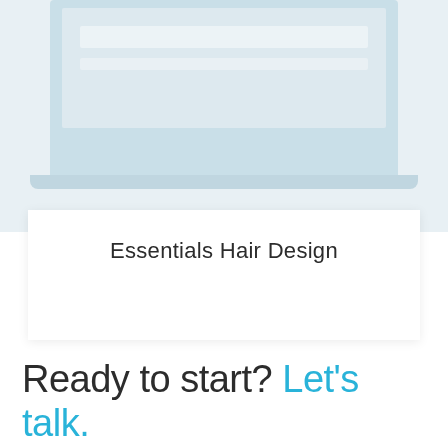[Figure (screenshot): Partial screenshot of a laptop displaying a website, shown on a light blue background]
Essentials Hair Design
Ready to start? Let's talk.